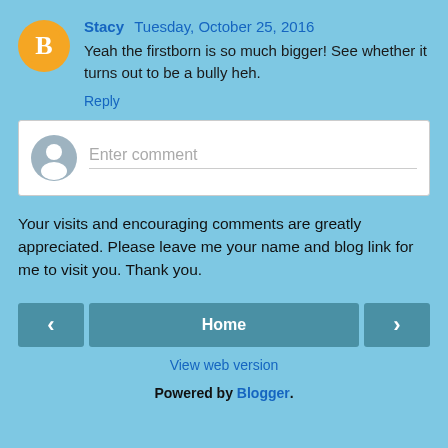Stacy  Tuesday, October 25, 2016
Yeah the firstborn is so much bigger! See whether it turns out to be a bully heh.
Reply
Enter comment
Your visits and encouraging comments are greatly appreciated. Please leave me your name and blog link for me to visit you. Thank you.
‹
Home
›
View web version
Powered by Blogger.